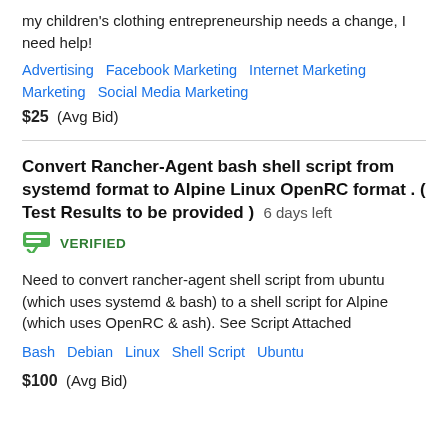my children's clothing entrepreneurship needs a change, I need help!
Advertising   Facebook Marketing   Internet Marketing   Marketing   Social Media Marketing
$25  (Avg Bid)
Convert Rancher-Agent bash shell script from systemd format to Alpine Linux OpenRC format . ( Test Results to be provided )  6 days left
VERIFIED
Need to convert rancher-agent shell script from ubuntu (which uses systemd & bash) to a shell script for Alpine (which uses OpenRC & ash). See Script Attached
Bash   Debian   Linux   Shell Script   Ubuntu
$100  (Avg Bid)